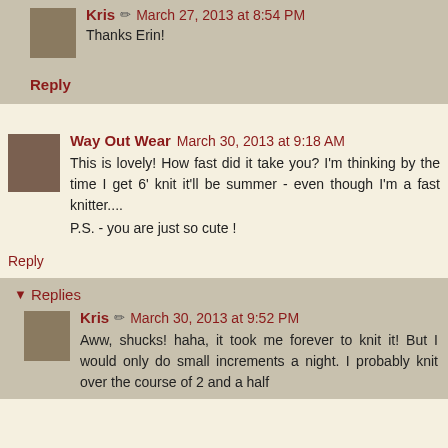Kris · March 27, 2013 at 8:54 PM
Thanks Erin!
Reply
Way Out Wear March 30, 2013 at 9:18 AM
This is lovely! How fast did it take you? I'm thinking by the time I get 6' knit it'll be summer - even though I'm a fast knitter....
P.S. - you are just so cute !
Reply
Replies
Kris · March 30, 2013 at 9:52 PM
Aww, shucks! haha, it took me forever to knit it! But I would only do small increments a night. I probably knit over the course of 2 and a half